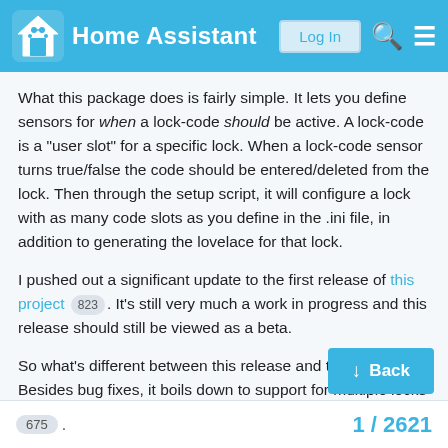Home Assistant — Log In
What this package does is fairly simple. It lets you define sensors for when a lock-code should be active. A lock-code is a "user slot" for a specific lock. When a lock-code sensor turns true/false the code should be entered/deleted from the lock. Then through the setup script, it will configure a lock with as many code slots as you define in the .ini file, in addition to generating the lovelace for that lock.
I pushed out a significant update to the first release of this project 823 . It's still very much a work in progress and this release should still be viewed as a beta.
So what's different between this release and the prior? Besides bug fixes, it boils down to support for multiple locks and the setup procedure.
For a simple experience, please Install via HACS
675 . 1 / 2621